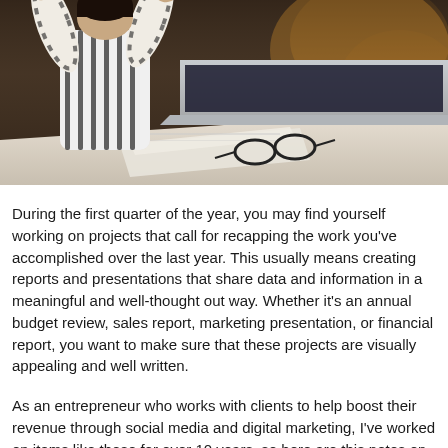[Figure (photo): A person in a striped shirt sitting at a desk with a laptop open, glasses resting on papers/notebook, working environment with warm ambient lighting in the background.]
During the first quarter of the year, you may find yourself working on projects that call for recapping the work you've accomplished over the last year. This usually means creating reports and presentations that share data and information in a meaningful and well-thought out way. Whether it's an annual budget review, sales report, marketing presentation, or financial report, you want to make sure that these projects are visually appealing and well written.
As an entrepreneur who works with clients to help boost their revenue through social media and digital marketing, I've worked on items like these for over 10 years, so here are this notes on how to...